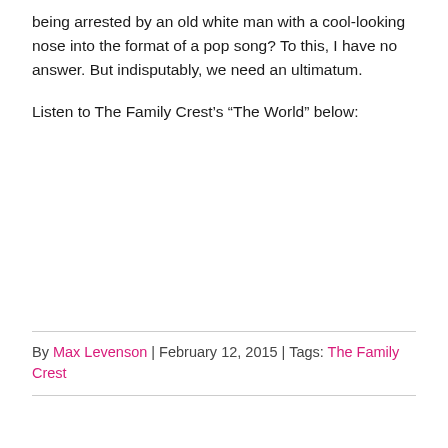being arrested by an old white man with a cool-looking nose into the format of a pop song? To this, I have no answer. But indisputably, we need an ultimatum.
Listen to The Family Crest’s “The World” below:
By Max Levenson | February 12, 2015 | Tags: The Family Crest